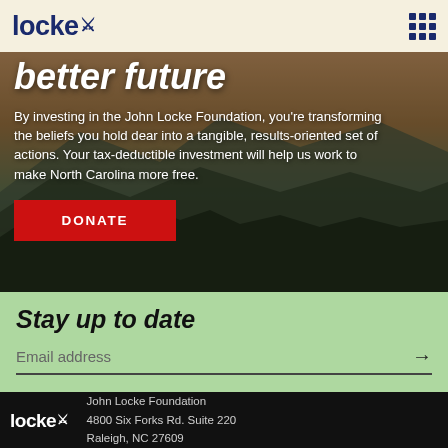locke (logo) | grid menu icon
better future
By investing in the John Locke Foundation, you're transforming the beliefs you hold dear into a tangible, results-oriented set of actions. Your tax-deductible investment will help us work to make North Carolina more free.
DONATE
Stay up to date
Email address
John Locke Foundation
4800 Six Forks Rd. Suite 220
Raleigh, NC 27609